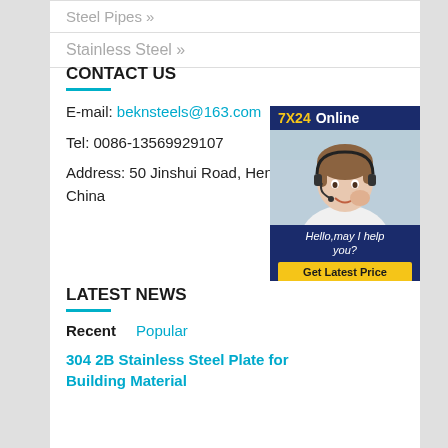Steel Pipes »
Stainless Steel »
CONTACT US
E-mail: beknsteels@163.com
Tel: 0086-13569929107
Address: 50 Jinshui Road, Henan, China
[Figure (photo): Customer service representative with headset, with '7X24 Online' banner on top, 'Hello, may I help you?' text, and 'Get Latest Price' button at bottom]
LATEST NEWS
Recent   Popular
304 2B Stainless Steel Plate for Building Material